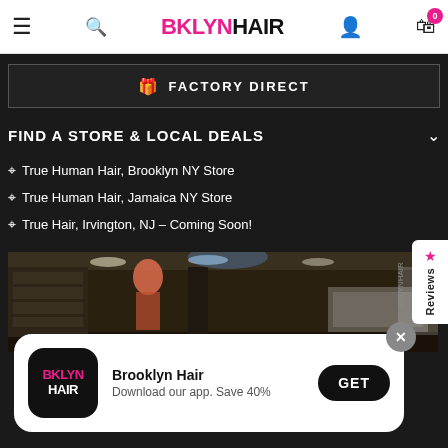BKLYNHAIR navigation bar with menu, search, account, and cart icons
FACTORY DIRECT
FIND A STORE & LOCAL DEALS
True Human Hair, Brooklyn NY Store
True Human Hair, Jamaica NY Store
True Hair, Irvington, NJ – Coming Soon!
[Figure (photo): Interior of a hair store with display cases, lighting, and hair products on shelves]
Brooklyn Hair
Download our app. Save 40%